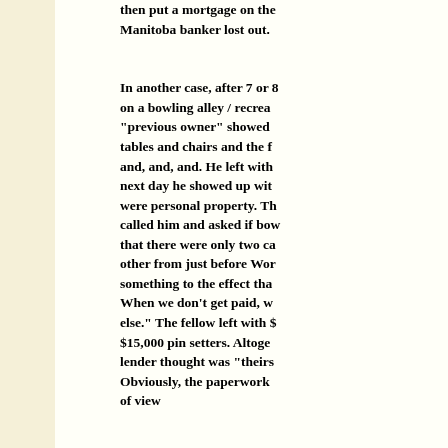and a Manitoba banker lost out. then put a mortgage on the Manitoba banker lost out. In another case, after 7 or 8 years on a bowling alley / recreation centre, "previous owner" showed up with tables and chairs and the furniture and, and, and. He left with them. The next day he showed up with what were personal property. The lender called him and asked if bowling pins — that there were only two cases — one other from just before World War II — something to the effect that "lawyers... When we don't get paid, we get something else." The fellow left with $15,000 pin setters. Altogether, what the lender thought was "theirs" was gone. Obviously, the paperwork from the point of view